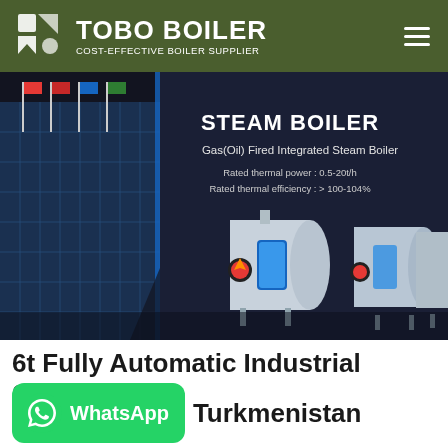TOBO BOILER — COST-EFFECTIVE BOILER SUPPLIER
[Figure (photo): Website screenshot showing a TOBO Boiler product banner with steam boiler industrial units. Text overlay reads: STEAM BOILER, Gas(Oil) Fired Integrated Steam Boiler, Rated thermal power: 0.5-20t/h, Rated thermal efficiency: >100-104%. Background shows industrial building with flags and three white industrial steam boiler units.]
6t Fully Automatic Industrial Steam Turkmenistan
[Figure (logo): WhatsApp button — green rounded rectangle with WhatsApp phone icon and text WhatsApp]